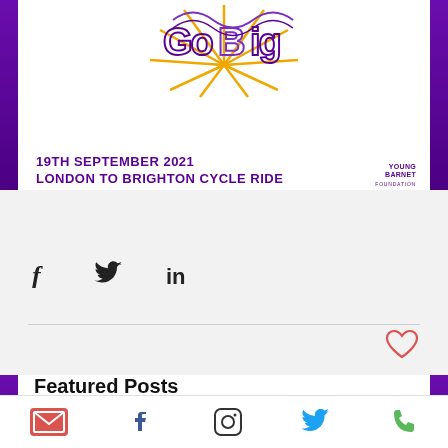[Figure (illustration): Event promotional image for '19th September 2021 London to Brighton Cycle Ride' with a decorative sun/cycle graphic in purple and yellow on white background. Young Barnet Foundation logo in bottom right. Purple side bars framing the image.]
[Figure (infographic): Social sharing icons: Facebook (f), Twitter bird, LinkedIn (in), arranged horizontally. A red heart/like icon at bottom right. Horizontal divider line. Light grey background.]
Featured Posts
[Figure (logo): Barnet Together logo with stylised swish/underline in orange and purple above the text 'Barnet Together' in italic handwriting style font, inside a panel with a left border bar.]
[Figure (infographic): Footer navigation bar with 5 icons: email (envelope in red/pink square), Facebook (blue), Instagram (outline), Twitter (blue bird), phone (green handset).]